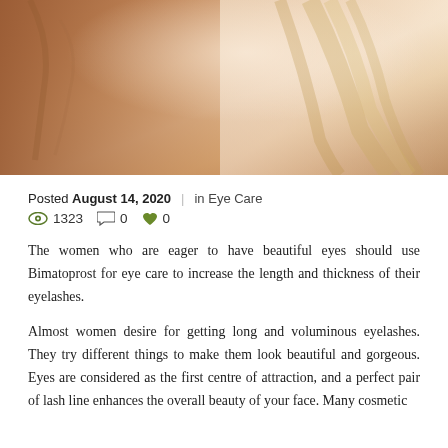[Figure (photo): Close-up photo of a woman's face/eye area with blonde hair, showing skin texture — article header image for eye care content]
Posted August 14, 2020  |  in Eye Care
👁 1323  💬 0  ❤ 0
The women who are eager to have beautiful eyes should use Bimatoprost for eye care to increase the length and thickness of their eyelashes.
Almost women desire for getting long and voluminous eyelashes. They try different things to make them look beautiful and gorgeous. Eyes are considered as the first centre of attraction, and a perfect pair of lash line enhances the overall beauty of your face. Many cosmetic